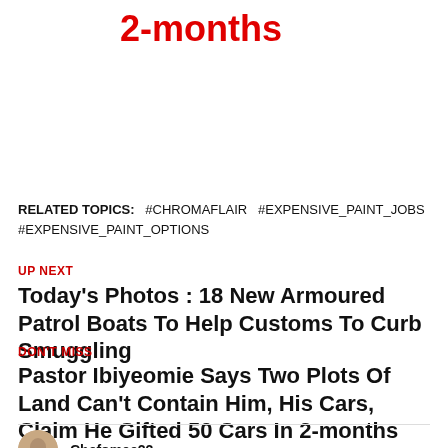2-months
RELATED TOPICS: #CHROMAFLAIR #EXPENSIVE_PAINT_JOBS #EXPENSIVE_PAINT_OPTIONS
UP NEXT
Today's Photos : 18 New Armoured Patrol Boats To Help Customs To Curb Smuggling
DON'T MISS
Pastor Ibiyeomie Says Two Plots Of Land Can't Contain Him, His Cars, Claim He Gifted 50 Cars In 2-months
Chefamee22